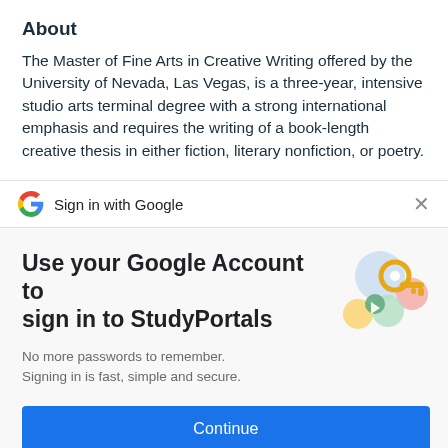About
The Master of Fine Arts in Creative Writing offered by the University of Nevada, Las Vegas, is a three-year, intensive studio arts terminal degree with a strong international emphasis and requires the writing of a book-length creative thesis in either fiction, literary nonfiction, or poetry.
Sign in with Google
Use your Google Account to sign in to StudyPortals
No more passwords to remember.
Signing in is fast, simple and secure.
Continue